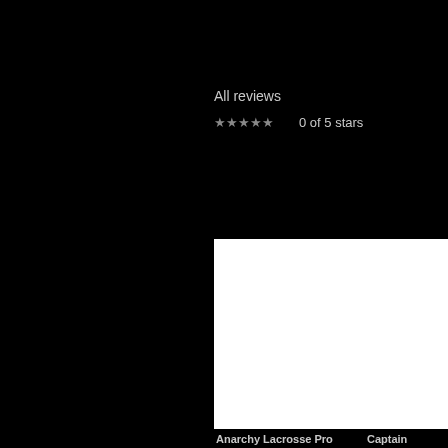All reviews
★★★★★ 0 of 5 stars
[Figure (photo): White rectangular card image area for Anarchy Lacrosse Pro product]
Anarchy Lacrosse Pro
[Figure (photo): White rectangular card image area for Captain product (partially visible)]
Captain